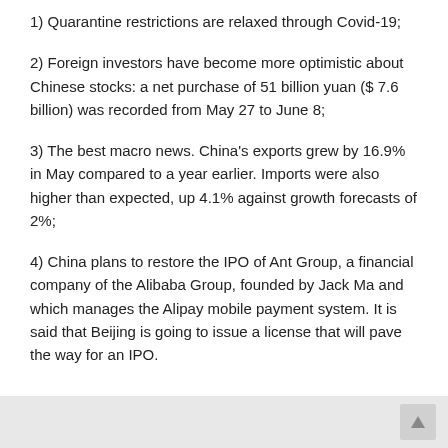1) Quarantine restrictions are relaxed through Covid-19;
2) Foreign investors have become more optimistic about Chinese stocks: a net purchase of 51 billion yuan ($ 7.6 billion) was recorded from May 27 to June 8;
3) The best macro news. China’s exports grew by 16.9% in May compared to a year earlier. Imports were also higher than expected, up 4.1% against growth forecasts of 2%;
4) China plans to restore the IPO of Ant Group, a financial company of the Alibaba Group, founded by Jack Ma and which manages the Alipay mobile payment system. It is said that Beijing is going to issue a license that will pave the way for an IPO.